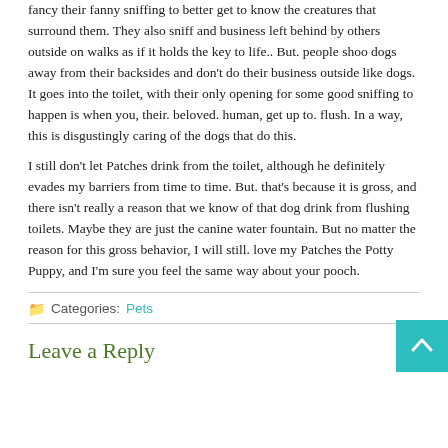fancy their fanny sniffing to better get to know the creatures that surround them. They also sniff and business left behind by others outside on walks as if it holds the key to life.. But. people shoo dogs away from their backsides and don't do their business outside like dogs. It goes into the toilet, with their only opening for some good sniffing to happen is when you, their. beloved. human, get up to. flush. In a way, this is disgustingly caring of the dogs that do this.
I still don't let Patches drink from the toilet, although he definitely evades my barriers from time to time. But. that's because it is gross, and there isn't really a reason that we know of that dog drink from flushing toilets. Maybe they are just the canine water fountain. But no matter the reason for this gross behavior, I will still. love my Patches the Potty Puppy, and I'm sure you feel the same way about your pooch.
Categories: Pets
Leave a Reply